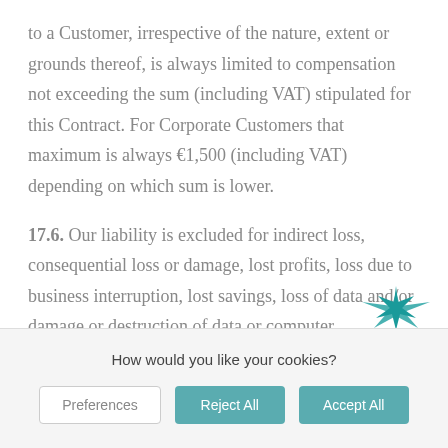to a Customer, irrespective of the nature, extent or grounds thereof, is always limited to compensation not exceeding the sum (including VAT) stipulated for this Contract. For Corporate Customers that maximum is always €1,500 (including VAT) depending on which sum is lower.
17.6. Our liability is excluded for indirect loss, consequential loss or damage, lost profits, loss due to business interruption, lost savings, loss of data and/or damage or destruction of data or computer
[Figure (logo): Teal/dark star-like bird logo mark on right side]
How would you like your cookies?